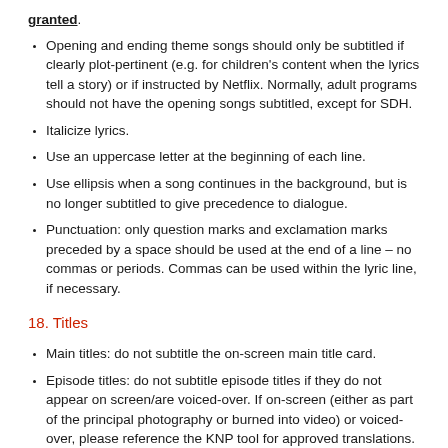granted.
Opening and ending theme songs should only be subtitled if clearly plot-pertinent (e.g. for children's content when the lyrics tell a story) or if instructed by Netflix. Normally, adult programs should not have the opening songs subtitled, except for SDH.
Italicize lyrics.
Use an uppercase letter at the beginning of each line.
Use ellipsis when a song continues in the background, but is no longer subtitled to give precedence to dialogue.
Punctuation: only question marks and exclamation marks preceded by a space should be used at the end of a line – no commas or periods. Commas can be used within the lyric line, if necessary.
18. Titles
Main titles: do not subtitle the on-screen main title card.
Episode titles: do not subtitle episode titles if they do not appear on screen/are voiced-over. If on-screen (either as part of the principal photography or burned into video) or voiced-over, please reference the KNP tool for approved translations.